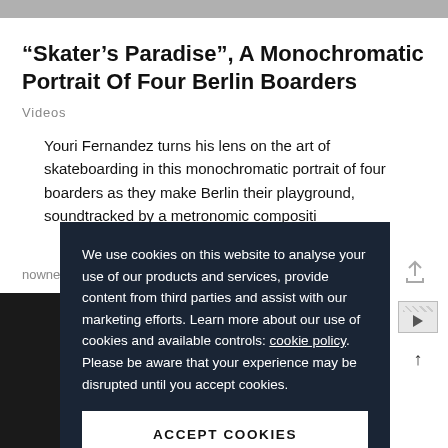“Skater’s Paradise”, A Monochromatic Portrait Of Four Berlin Boarders
Videos
Youri Fernandez turns his lens on the art of skateboarding in this monochromatic portrait of four boarders as they make Berlin their playground, soundtracked by a metronomic compositi…
nowness.c…
We use cookies on this website to analyse your use of our products and services, provide content from third parties and assist with our marketing efforts. Learn more about our use of cookies and available controls: cookie policy. Please be aware that your experience may be disrupted until you accept cookies.
ACCEPT COOKIES
[Figure (photo): Dark background photo with red neon cursive text at bottom, partially visible. Cookie consent overlay covering most of image area.]